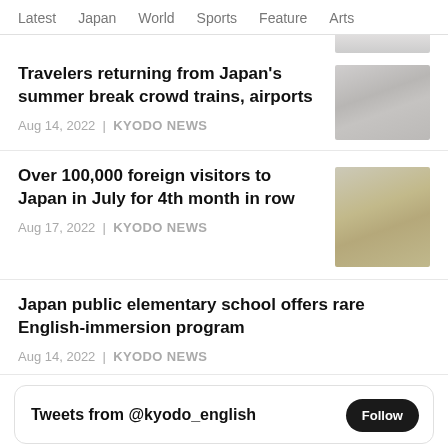Latest  Japan  World  Sports  Feature  Arts
Travelers returning from Japan's summer break crowd trains, airports
Aug 14, 2022 | KYODO NEWS
[Figure (photo): Photograph of crowded train station or airport]
Over 100,000 foreign visitors to Japan in July for 4th month in row
Aug 17, 2022 | KYODO NEWS
[Figure (photo): Photograph of foreign visitors in Japan]
Japan public elementary school offers rare English-immersion program
Aug 14, 2022 | KYODO NEWS
Tweets from @kyodo_english
Follow